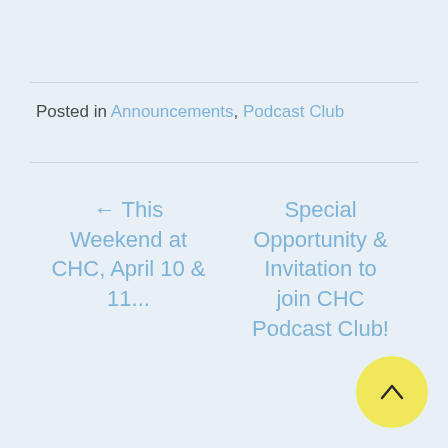Posted in Announcements, Podcast Club
← This Weekend at CHC, April 10 & 11...
Special Opportunity & Invitation to join CHC Podcast Club! →